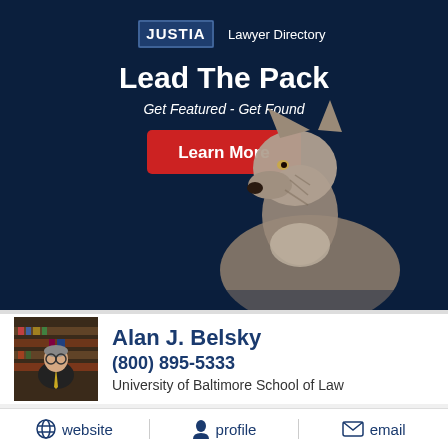[Figure (illustration): Justia Lawyer Directory advertisement banner with dark navy background, showing 'Lead The Pack / Get Featured - Get Found' text, a red Learn More button, and a wolf photo in the lower portion of the banner.]
Alan J. Belsky
(800) 895-5333
University of Baltimore School of Law
website
profile
email